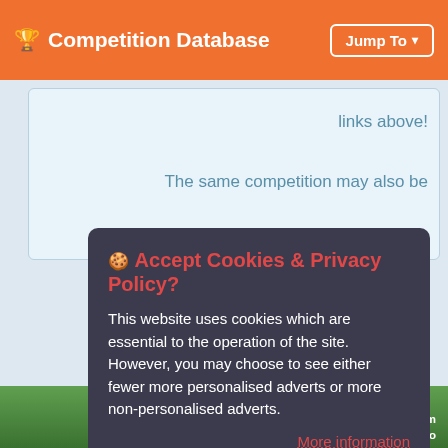🏆 Competition Database  Jump To ▾
links above!
The same competition may also be
🍪 Accept Cookies & Privacy Policy?
This website uses cookies which are essential to the operation of the site. However, you may choose to see either fewer more personalised adverts or more non-personalised adverts.
More information
Accept more non-personalised adverts
Accept fewer personalised adverts
WIN a Perthshire agritourism prize package including a two